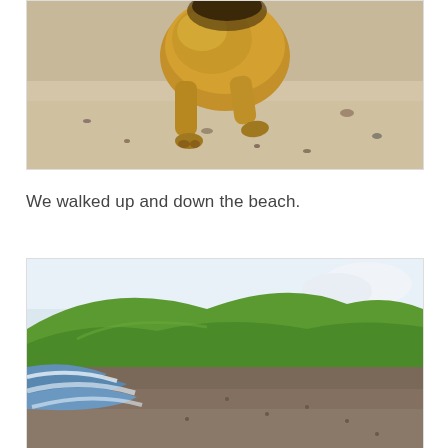[Figure (photo): Close-up photograph of a fluffy golden/tan dog's lower body and legs walking on a sandy beach. The dog appears to be a terrier-type breed. The background shows sandy beach with small rocks or debris scattered around.]
We walked up and down the beach.
[Figure (photo): Photograph of a coastal beach scene showing a dark pebbly/rocky beach with ocean waves washing up on the left side. Green grassy hills rise in the background against a partly cloudy sky.]